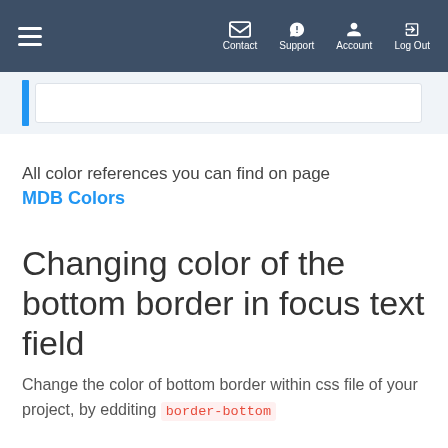Contact | Support | Account | Log Out
[Figure (screenshot): Input text field with blue left border indicator, partially visible at top]
All color references you can find on page MDB Colors
Changing color of the bottom border in focus text field
Change the color of bottom border within css file of your project, by edditing border-bottom